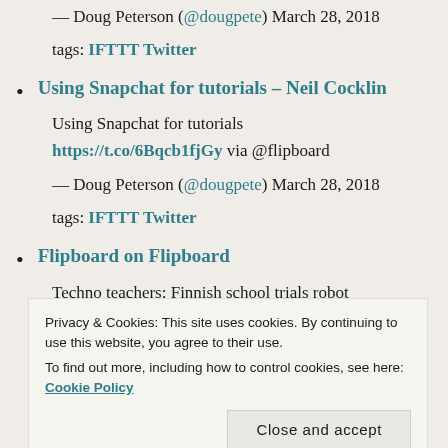— Doug Peterson (@dougpete) March 28, 2018
tags: IFTTT Twitter
Using Snapchat for tutorials – Neil Cocklin
Using Snapchat for tutorials https://t.co/6Bqcb1fjGy via @flipboard
— Doug Peterson (@dougpete) March 28, 2018
tags: IFTTT Twitter
Flipboard on Flipboard
Techno teachers: Finnish school trials robot
Privacy & Cookies: This site uses cookies. By continuing to use this website, you agree to their use. To find out more, including how to control cookies, see here: Cookie Policy